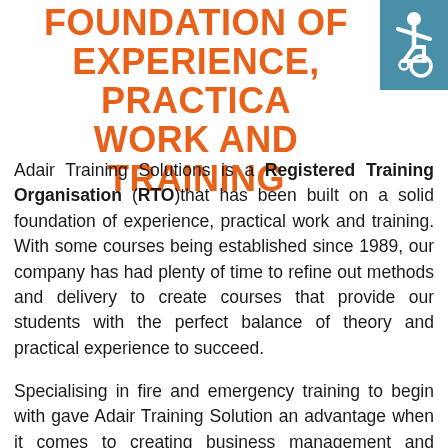FOUNDATION OF EXPERIENCE, PRACTICAL WORK AND TRAINING
[Figure (illustration): Wheelchair accessibility icon — white figure in wheelchair on teal/blue square background, top-right corner]
Adair Training Solutions is a Registered Training Organisation (RTO)that has been built on a solid foundation of experience, practical work and training. With some courses being established since 1989, our company has had plenty of time to refine out methods and delivery to create courses that provide our students with the perfect balance of theory and practical experience to succeed.
Specialising in fire and emergency training to begin with gave Adair Training Solution an advantage when it comes to creating business management and personal development courses that are relevant in real-world situations. Fire,